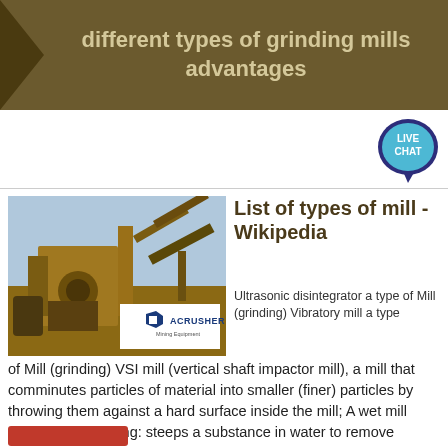different types of grinding mills advantages
[Figure (photo): Industrial grinding mill / crushing equipment outdoor with ACRUSHER Mining Equipment logo overlay]
List of types of mill - Wikipedia
Ultrasonic disintegrator a type of Mill (grinding) Vibratory mill a type of Mill (grinding) VSI mill (vertical shaft impactor mill), a mill that comminutes particles of material into smaller (finer) particles by throwing them against a hard surface inside the mill; A wet mill performs wet-milling: steeps a substance in water to remove specific ...